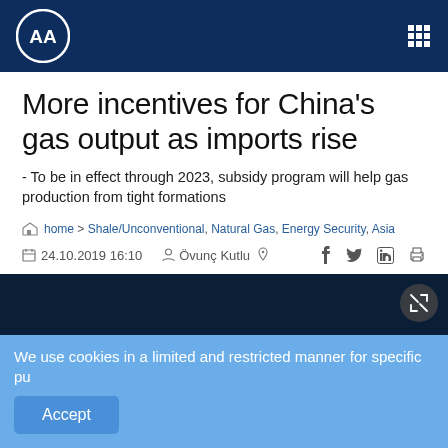AA (Anadolu Agency) logo and navigation
More incentives for China's gas output as imports rise
- To be in effect through 2023, subsidy program will help gas production from tight formations
home > Shale/Unconventional, Natural Gas, Energy Security, Asia
24.10.2019 16:10   Övunç Kutlu
[Figure (photo): Dark hero image with red shape, market ticker bar overlay showing natural gas and electricity market data]
We use cookies in a limited and restricted manner for specific pu
Accept